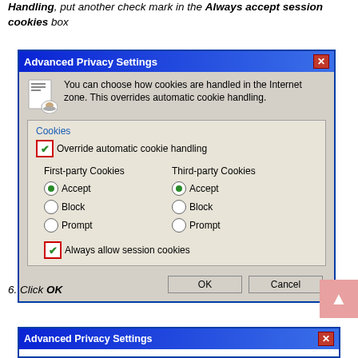Handling, put another check mark in the Always accept session cookies box
[Figure (screenshot): Windows XP Advanced Privacy Settings dialog box showing cookie handling options with checkboxes and radio buttons. Override automatic cookie handling is checked, First-party and Third-party Cookies both set to Accept, Always allow session cookies is checked.]
6. Click OK
[Figure (screenshot): Partial view of another Advanced Privacy Settings dialog box at the bottom of the page.]